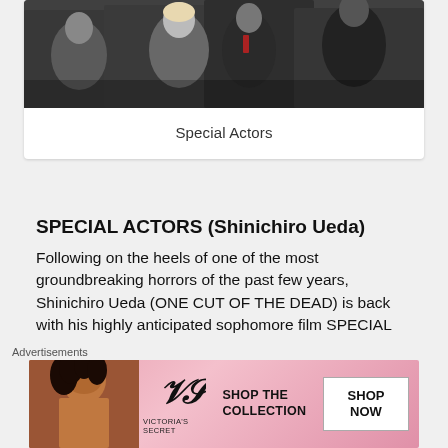[Figure (photo): Group photo of several people in dark clothing, cropped at top of page]
Special Actors
SPECIAL ACTORS (Shinichiro Ueda)
Following on the heels of one of the most groundbreaking horrors of the past few years, Shinichiro Ueda (ONE CUT OF THE DEAD) is back with his highly anticipated sophomore film SPECIAL ACTORS! Not one to rest on the laurels of his genre-twisting debut, Ueda widens the scope of his meta-storytelling to the entire world. Actor Kazuto is hired by an agency that
Advertisements
[Figure (infographic): Victoria's Secret advertisement banner with model, VS logo, SHOP THE COLLECTION text and SHOP NOW button on pink background]